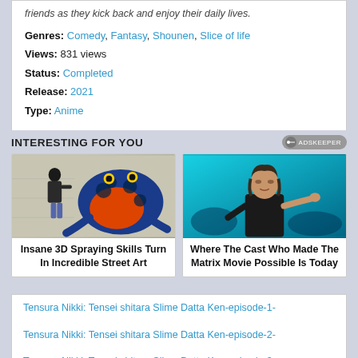friends as they kick back and enjoy their daily lives.
Genres: Comedy, Fantasy, Shounen, Slice of life
Views: 831 views
Status: Completed
Release: 2021
Type: Anime
INTERESTING FOR YOU
[Figure (photo): Person spray painting a large 3D frog mural on a wall. Caption: Insane 3D Spraying Skills Turn In Incredible Street Art]
[Figure (photo): Actor with long hair in action pose against cyan/teal background (Matrix movie scene). Caption: Where The Cast Who Made The Matrix Movie Possible Is Today]
Tensura Nikki: Tensei shitara Slime Datta Ken-episode-1-
Tensura Nikki: Tensei shitara Slime Datta Ken-episode-2-
Tensura Nikki: Tensei shitara Slime Datta Ken-episode-3-